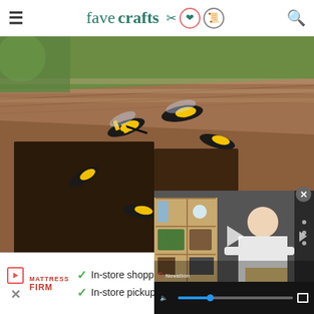favecrafts
[Figure (photo): Close-up photo of yellow jacket wasps crawling on a wooden surface/gutter]
[Figure (screenshot): Embedded video player overlay showing a woman in a craft room with a bookshelf, with video playback controls]
Stinging Insects Are B
PestWorld.org
[Figure (other): Advertisement banner for Mattress Firm showing: In-store shopping, In-store pickup, Delivery with checkmarks and navigation icon]